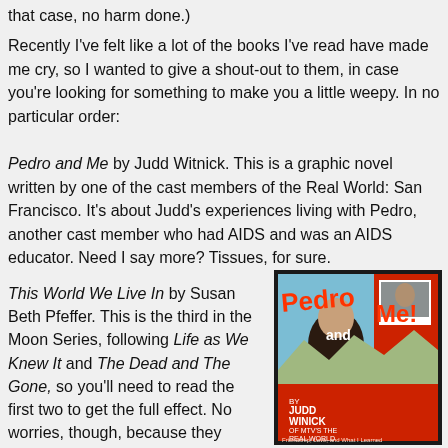that case, no harm done.)
Recently I've felt like a lot of the books I've read have made me cry, so I wanted to give a shout-out to them, in case you're looking for something to make you a little weepy. In no particular order:
Pedro and Me by Judd Witnick. This is a graphic novel written by one of the cast members of the Real World: San Francisco. It's about Judd's experiences living with Pedro, another cast member who had AIDS and was an AIDS educator. Need I say more? Tissues, for sure.
This World We Live In by Susan Beth Pfeffer. This is the third in the Moon Series, following Life as We Knew It and The Dead and The Gone, so you'll need to read the first two to get the full effect. No worries, though, because they suck you in and go by so fast. Hopefully Donna & I will have a co-review of this series coming soon, because I can't tell
[Figure (photo): Book cover of Pedro and Me by Judd Winick, showing a young man on the cover with red and orange title text, with subtitle 'Friendship, Loss, and What I Learned']